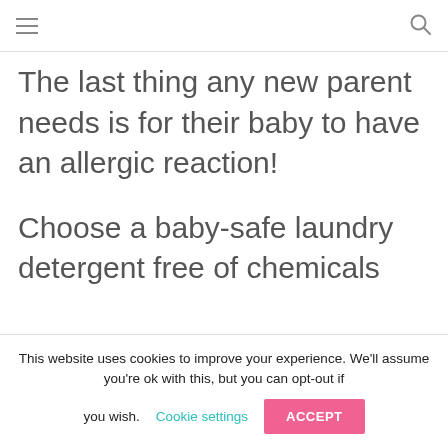≡  🔍
The last thing any new parent needs is for their baby to have an allergic reaction!
Choose a baby-safe laundry detergent free of chemicals
This website uses cookies to improve your experience. We'll assume you're ok with this, but you can opt-out if you wish. Cookie settings  ACCEPT